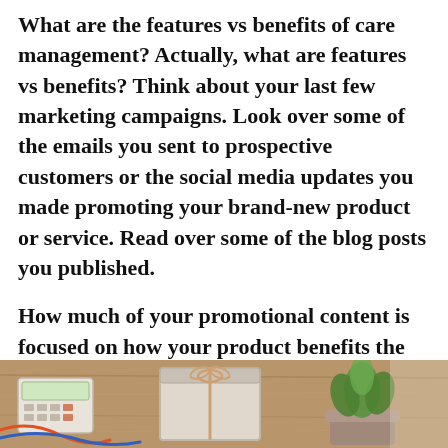What are the features vs benefits of care management? Actually, what are features vs benefits? Think about your last few marketing campaigns. Look over some of the emails you sent to prospective customers or the social media updates you made promoting your brand-new product or service. Read over some of the blog posts you published.
How much of your promotional content is focused on how your product benefits the caller? How much of your sales pitch described what your products do???
[Figure (photo): A partial photo strip at the bottom of the page showing a desk scene with a calculator, papers or a box, and a small potted green plant on a wooden surface.]